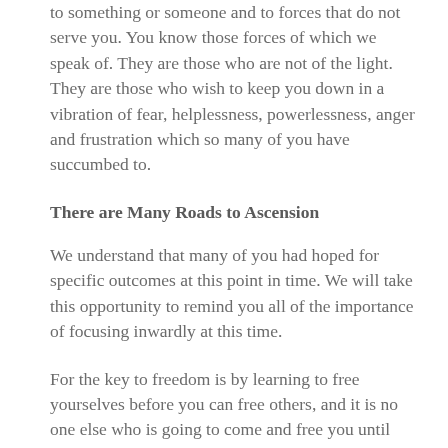to something or someone and to forces that do not serve you. You know those forces of which we speak of. They are those who are not of the light. They are those who wish to keep you down in a vibration of fear, helplessness, powerlessness, anger and frustration which so many of you have succumbed to.
There are Many Roads to Ascension
We understand that many of you had hoped for specific outcomes at this point in time. We will take this opportunity to remind you all of the importance of focusing inwardly at this time.
For the key to freedom is by learning to free yourselves before you can free others, and it is no one else who is going to come and free you until you learn to do this for yourself. You are all sovereign. You must rely less on the powers that be – that you have granted and attributed so much power to – and realize that you have all the power within yourselves.
So, you must let go of set expectations and detachments and trust that there are many, many different ways to ascension. It will be experienced differently from one person to the next. Do not worry about how humanity is getting to ascension. You will